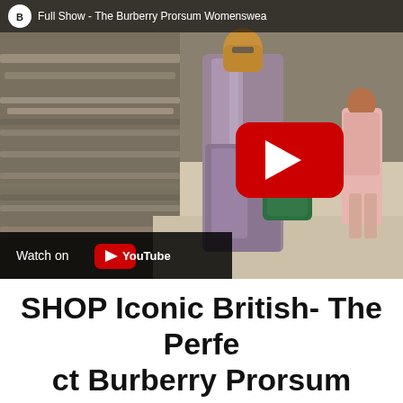[Figure (screenshot): YouTube video thumbnail showing a Burberry Prorsum fashion runway show. A model in a shimmery metallic purple/pink dress walks the runway carrying a green bag. Audience seated on left. Another model visible in background wearing pink. Top bar shows Burberry logo and title 'Full Show - The Burberry Prorsum Womenswear'. A YouTube red play button is overlaid in the center-right. Bottom left shows 'Watch on YouTube' bar.]
SHOP Iconic British- The Perfect Burberry Prorsum Trench Coat